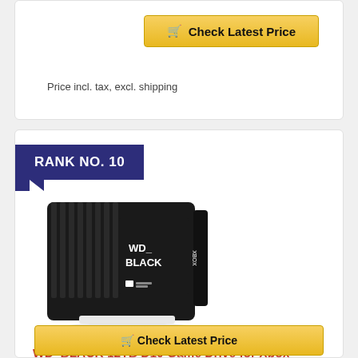Check Latest Price
Price incl. tax, excl. shipping
RANK NO. 10
[Figure (photo): WD_BLACK external hard drive product photo — black rectangular device with ribbed top, WD_ BLACK branding on front, XBOX logo on side, white stand base]
WD_BLACK 12TB D10 Game Drive for Xbox – Desktop External Hard Drive HDD (7200 RPM) with 1-Month Xbox Game Pass – WDBA5E0120HBK-NESN
Check Latest Price